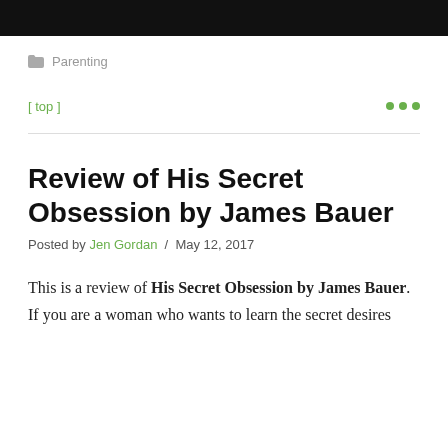[Figure (other): Black header bar at top of webpage]
Parenting
[ top ]
Review of His Secret Obsession by James Bauer
Posted by Jen Gordan / May 12, 2017
This is a review of His Secret Obsession by James Bauer. If you are a woman who wants to learn the secret desires